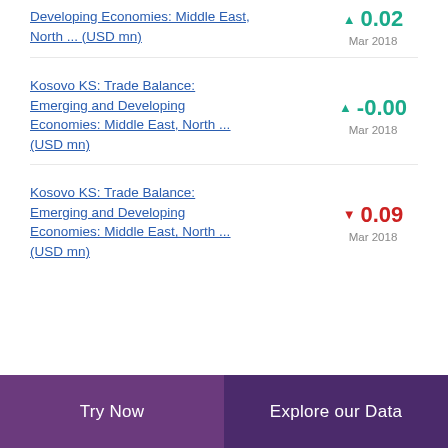Developing Economies: Middle East, North ... (USD mn)
Kosovo KS: Trade Balance: Emerging and Developing Economies: Middle East, North ... (USD mn)
Kosovo KS: Trade Balance: Emerging and Developing Economies: Middle East, North ... (USD mn)
Try Now | Explore our Data